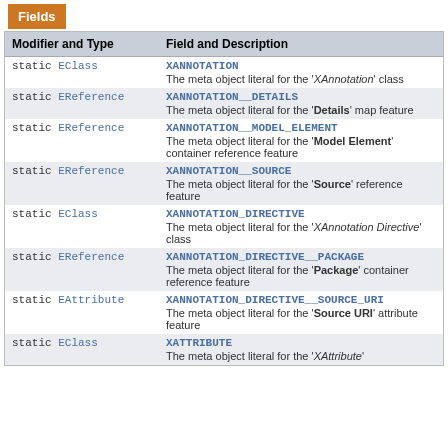Fields
| Modifier and Type | Field and Description |
| --- | --- |
| static EClass | XANNOTATION
The meta object literal for the 'XAnnotation' class |
| static EReference | XANNOTATION__DETAILS
The meta object literal for the 'Details' map feature |
| static EReference | XANNOTATION__MODEL_ELEMENT
The meta object literal for the 'Model Element' container reference feature |
| static EReference | XANNOTATION__SOURCE
The meta object literal for the 'Source' reference feature |
| static EClass | XANNOTATION_DIRECTIVE
The meta object literal for the 'XAnnotation Directive' class |
| static EReference | XANNOTATION_DIRECTIVE__PACKAGE
The meta object literal for the 'Package' container reference feature |
| static EAttribute | XANNOTATION_DIRECTIVE__SOURCE_URI
The meta object literal for the 'Source URI' attribute feature |
| static EClass | XATTRIBUTE
The meta object literal for the 'XAttribute' |